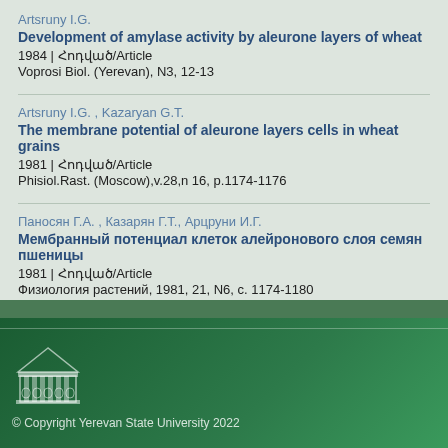Artsruny I.G.
Development of amylase activity by aleurone layers of wheat
1984 | Հոդված/Article
Voprosi Biol. (Yerevan), N3, 12-13
Artsruny I.G. , Kazaryan G.T.
The membrane potential of aleurone layers cells in wheat grains
1981 | Հոդված/Article
Phisiol.Rast. (Moscow),v.28,n 16, p.1174-1176
Паносян Г.А. , Казарян Г.Т., Арцруни И.Г.
Мембранный потенциал клеток алейронового слоя семян пшеницы
1981 | Հոդված/Article
Физиология растений, 1981, 21, N6, с. 1174-1180
© Copyright Yerevan State University 2022